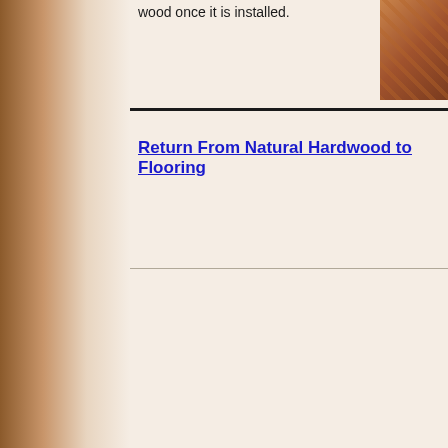wood once it is installed.
[Figure (photo): Close-up photo of natural hardwood flooring showing wood grain and warm brown tones]
Return From Natural Hardwood to Flooring